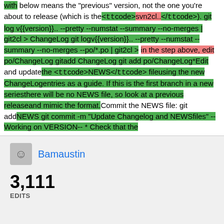ttcode Changelog{{version}} /ttcode was generated with below means the "previous" version, not the one you're about to release (which is the <ttcode>svn2cl..</ttcode>). git log v{{version}}.. --pretty --numstat --summary --no-merges | git2cl > ChangeLog git log v{{version}}.. --pretty --numstat --summary --no-merges --po/*.po | git2cl > in the step above, edit po/ChangeLog git add ChangeLog git add po/ChangeLog*Edit and update the <ttcode>NEWS</ttcode> file using the new ChangeLog entries as a guide. If this is the first branch in a new series there will be no NEWS file, so look at a previous release and mimic the format.Commit the NEWS file: git add NEWS git commit -m "Update Changelog and NEWS files" --Working on VERSION-- * Check that the
Bamaustin
3,111
EDITS